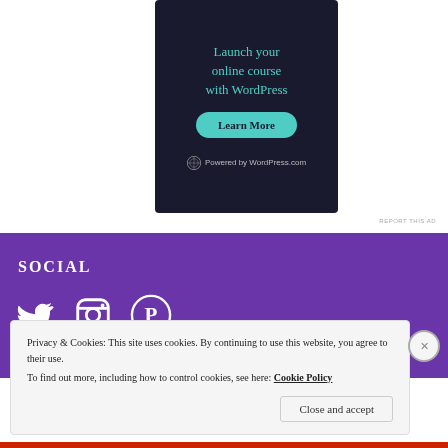[Figure (screenshot): WordPress.com advertisement banner with dark background showing 'Launch your online course with WordPress' in teal text, a teal 'Learn More' button, and 'Powered by WordPress.com' at the bottom]
REPORT THIS AD
SOCIAL
[Figure (illustration): Three white social media icons: Twitter bird, Instagram camera, Pinterest P logo on purple background]
Privacy & Cookies: This site uses cookies. By continuing to use this website, you agree to their use.
To find out more, including how to control cookies, see here: Cookie Policy
Close and accept